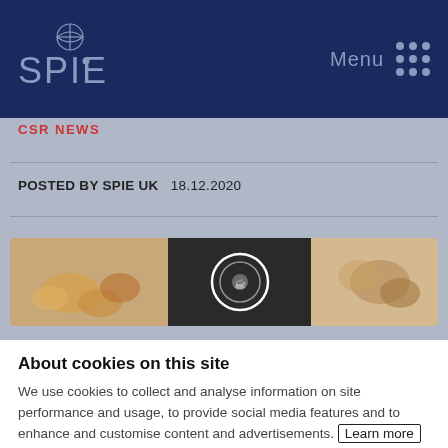[Figure (logo): SPIE company logo in white on dark navy blue navigation header, with Menu text and grid icon on the right]
CSR NEWS
POSTED BY SPIE UK   18.12.2020
[Figure (photo): Partial photo strip showing food items including what appears to be cookies or pastries and a cup]
About cookies on this site
We use cookies to collect and analyse information on site performance and usage, to provide social media features and to enhance and customise content and advertisements. Learn more